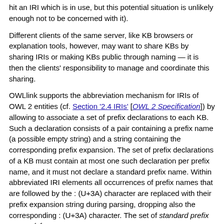hit an IRI which is in use, but this potential situation is unlikely enough not to be concerned with it).
Different clients of the same server, like KB browsers or explanation tools, however, may want to share KBs by sharing IRIs or making KBs public through naming — it is then the clients' responsibility to manage and coordinate this sharing.
OWLlink supports the abbreviation mechanism for IRIs of OWL 2 entities (cf. Section '2.4 IRIs' [OWL 2 Specification]) by allowing to associate a set of prefix declarations to each KB. Such a declaration consists of a pair containing a prefix name (a possible empty string) and a string containing the corresponding prefix expansion. The set of prefix declarations of a KB must contain at most one such declaration per prefix name, and it must not declare a standard prefix name. Within abbreviated IRI elements all occurrences of prefix names that are followed by the : (U+3A) character are replaced with their prefix expansion string during parsing, dropping also the corresponding : (U+3A) character. The set of standard prefix names (cf. Table 2 [OWL 2 Specification]) is defined as follows: